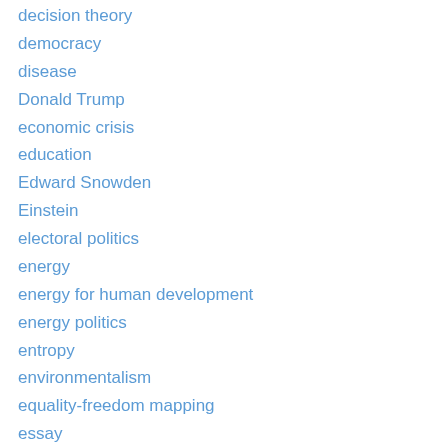decision theory
democracy
disease
Donald Trump
economic crisis
education
Edward Snowden
Einstein
electoral politics
energy
energy for human development
energy politics
entropy
environmentalism
equality-freedom mapping
essay
facts of life
fiction
Fidel Castro
film